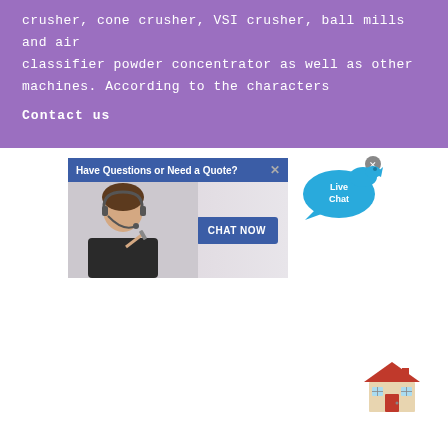crusher, cone crusher, VSI crusher, ball mills and air classifier powder concentrator as well as other machines. According to the characters
Contact us
[Figure (screenshot): Live chat widget popup with header 'Have Questions or Need a Quote?', a customer service representative photo, and a 'CHAT NOW' button. Also shows a 'Live Chat' speech bubble icon in the top right.]
[Figure (illustration): House emoji icon in bottom right corner]